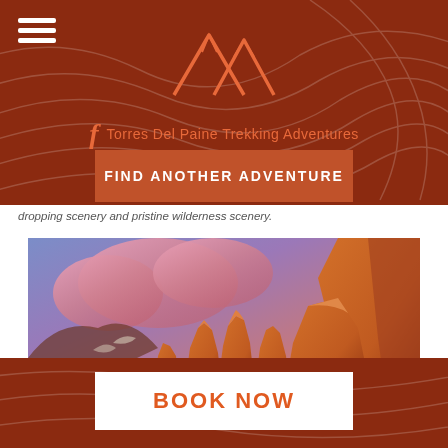Torres Del Paine Trekking Adventures
FIND ANOTHER ADVENTURE
dropping scenery and pristine wilderness scenery.
[Figure (photo): Torres del Paine granite towers glowing orange-red at sunrise under a dramatic purple and pink sky with clouds]
BOOK NOW